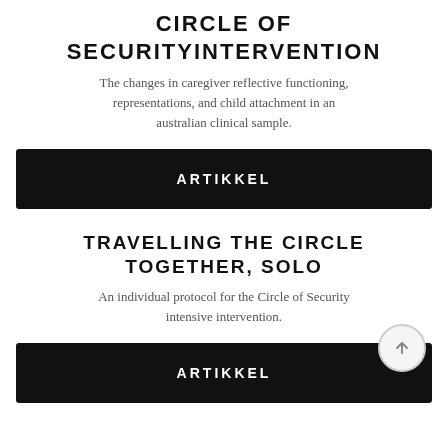CIRCLE OF SECURITYINTERVENTION
The changes in caregiver reflective functioning, representations, and child attachment in an australian clinical sample.
ARTIKKEL
TRAVELLING THE CIRCLE TOGETHER, SOLO
An individual protocol for the Circle of Security intensive intervention.
ARTIKKEL